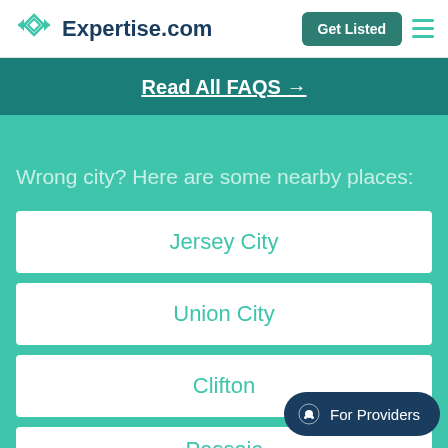Expertise.com
Read All FAQS →
Wrong city? Here are some nearby places:
Jersey City
Union City
Clifton
Passaic